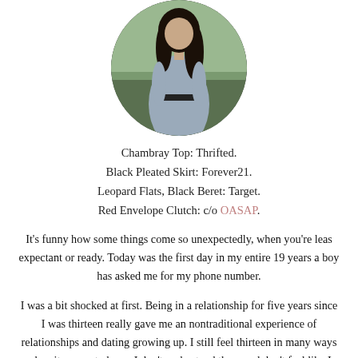[Figure (photo): Circular cropped photo of a young woman in a chambray top with long dark hair, photographed outdoors with green foliage in background]
Chambray Top: Thrifted.
Black Pleated Skirt: Forever21.
Leopard Flats, Black Beret: Target.
Red Envelope Clutch: c/o OASAP.
It's funny how some things come so unexpectedly, when you're leas expectant or ready. Today was the first day in my entire 19 years a boy has asked me for my phone number.
I was a bit shocked at first. Being in a relationship for five years since I was thirteen really gave me an nontraditional experience of relationships and dating growing up. I still feel thirteen in many ways when it comes to boys; I don't understand them and don't feel like I ever will.
I was flattered and shocked to be asked for my number. It was definitely a confidence booster because here at Kent, I feel like